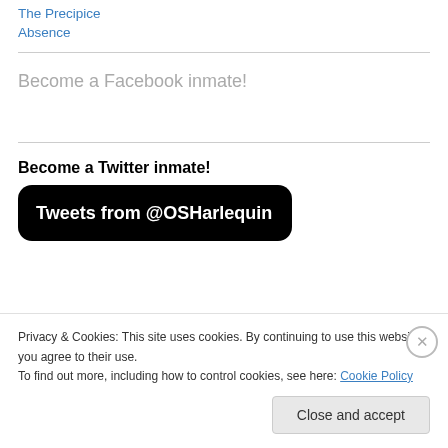The Precipice
Absence
Become a Facebook inmate!
Become a Twitter inmate!
[Figure (screenshot): Twitter widget showing 'Tweets from @OSHarlequin' on a black rounded rectangle background]
Privacy & Cookies: This site uses cookies. By continuing to use this website, you agree to their use.
To find out more, including how to control cookies, see here: Cookie Policy
Close and accept